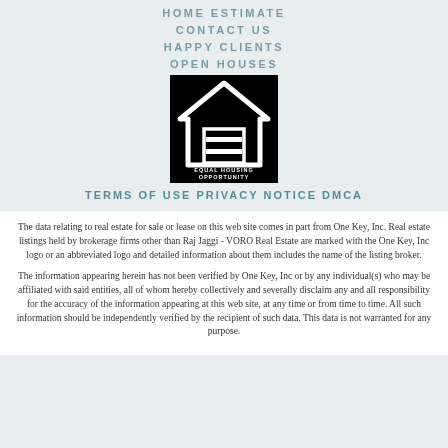HOME ESTIMATE
CONTACT US
HAPPY CLIENTS
OPEN HOUSES
[Figure (logo): Equal Housing Opportunity logo — white house outline with equal sign on black background, text below reads EQUAL HOUSING OPPORTUNITY]
TERMS OF USE PRIVACY NOTICE DMCA
The data relating to real estate for sale or lease on this web site comes in part from One Key, Inc. Real estate listings held by brokerage firms other than Raj Jaggi - VORO Real Estate are marked with the One Key, Inc logo or an abbreviated logo and detailed information about them includes the name of the listing broker.
The information appearing herein has not been verified by One Key, Inc or by any individual(s) who may be affiliated with said entities, all of whom hereby collectively and severally disclaim any and all responsibility for the accuracy of the information appearing at this web site, at any time or from time to time. All such information should be independently verified by the recipient of such data. This data is not warranted for any purpose.